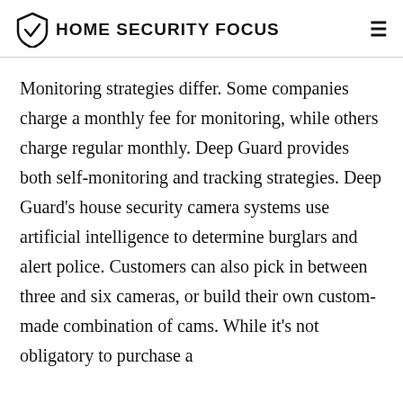HOME SECURITY FOCUS
Monitoring strategies differ. Some companies charge a monthly fee for monitoring, while others charge regular monthly. Deep Guard provides both self-monitoring and tracking strategies. Deep Guard's house security camera systems use artificial intelligence to determine burglars and alert police. Customers can also pick in between three and six cameras, or build their own custom-made combination of cams. While it's not obligatory to purchase a